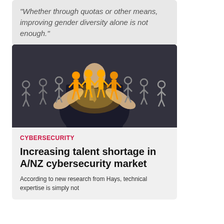“Whether through quotas or other means, improving gender diversity alone is not enough."
[Figure (photo): A businessman in a dark suit holding up glowing orange human figure icons among grey human figure icons, representing talent selection or workforce diversity.]
CYBERSECURITY
Increasing talent shortage in A/NZ cybersecurity market
According to new research from Hays, technical expertise is simply not